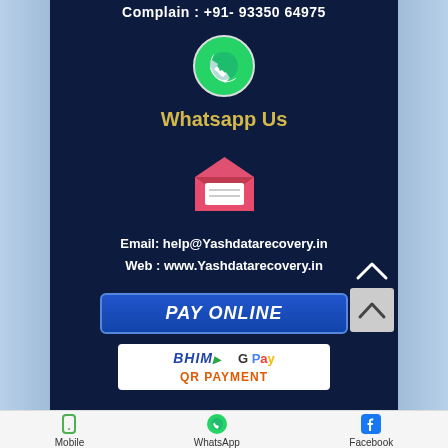Complain : +91- 93350 64975
[Figure (logo): WhatsApp icon - green circle with white phone handset]
Whatsapp Us
[Figure (illustration): Red email envelope icon, open with white letter inside]
Email: help@Yashdatarecovery.in
Web : www.Yashdatarecovery.in
[Figure (other): PAY ONLINE blue button]
[Figure (other): BHIM and G Pay logos with QR PAYMENT text]
Mobile
WhatsApp
Facebook